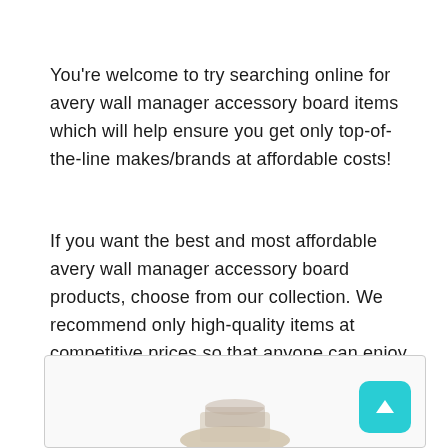You're welcome to try searching online for avery wall manager accessory board items which will help ensure you get only top-of-the-line makes/brands at affordable costs!
If you want the best and most affordable avery wall manager accessory board products, choose from our collection. We recommend only high-quality items at competitive prices so that anyone can enjoy their purchase without regrets or feeling they got ripped off!
[Figure (photo): Product image box with a scroll-to-top teal button in the bottom-right corner and a partially visible product at the bottom center.]